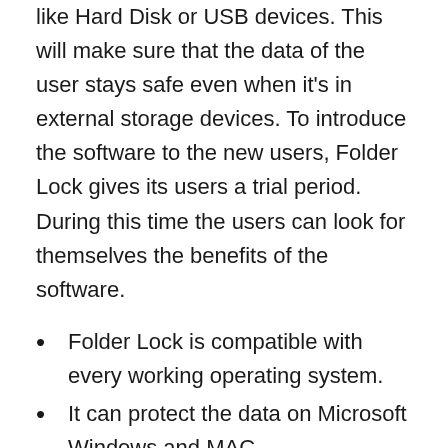like Hard Disk or USB devices. This will make sure that the data of the user stays safe even when it's in external storage devices. To introduce the software to the new users, Folder Lock gives its users a trial period. During this time the users can look for themselves the benefits of the software.
Folder Lock is compatible with every working operating system.
It can protect the data on Microsoft Windows and MAC.
So, the users can reach their data from any OS.
The latest feature is that it also runs on mobile phones.
This has also made it easier for users to stay in touch with their data.